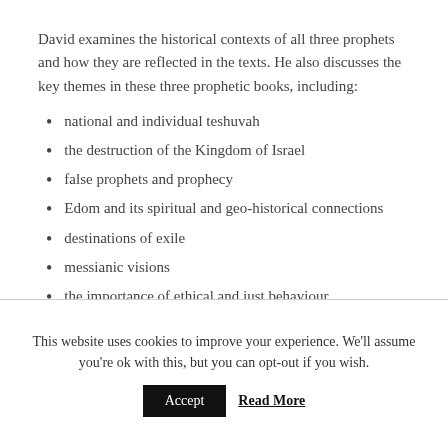David examines the historical contexts of all three prophets and how they are reflected in the texts. He also discusses the key themes in these three prophetic books, including:
national and individual teshuvah
the destruction of the Kingdom of Israel
false prophets and prophecy
Edom and its spiritual and geo-historical connections
destinations of exile
messianic visions
the importance of ethical and just behaviour.
This website uses cookies to improve your experience. We'll assume you're ok with this, but you can opt-out if you wish. Accept Read More